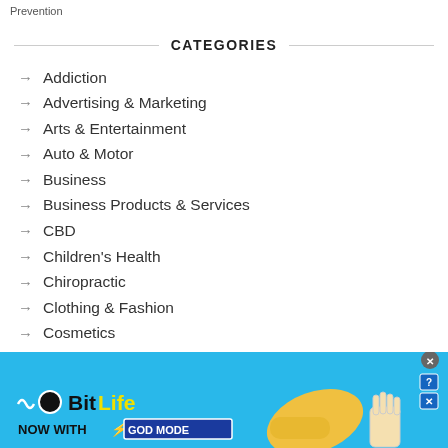Prevention
CATEGORIES
Addiction
Advertising & Marketing
Arts & Entertainment
Auto & Motor
Business
Business Products & Services
CBD
Children's Health
Chiropractic
Clothing & Fashion
Cosmetics
Dental Health
[Figure (screenshot): BitLife advertisement banner with 'NOW WITH GOD MODE' text, hand pointer graphic, on blue background]